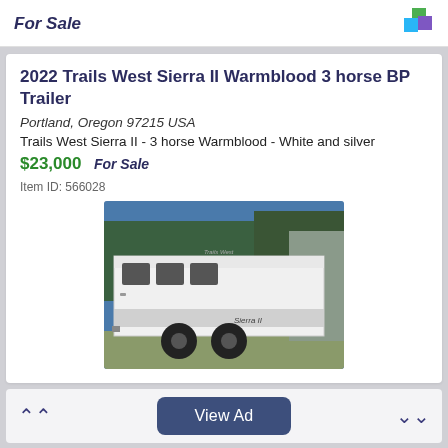For Sale
2022 Trails West Sierra II Warmblood 3 horse BP Trailer
Portland, Oregon 97215 USA
Trails West Sierra II - 3 horse Warmblood - White and silver
$23,000  For Sale
Item ID: 566028
[Figure (photo): White Trails West Sierra II horse trailer with black wheels, photographed outdoors with trees in background]
View Ad